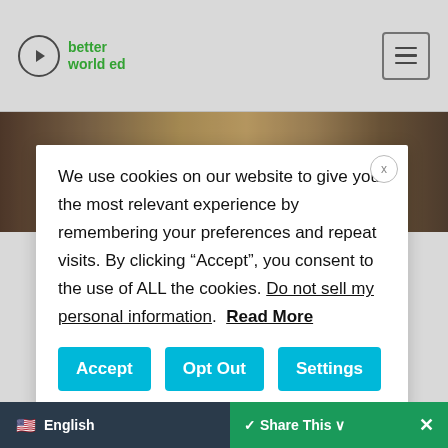[Figure (logo): Better World Ed logo with circle play button icon and green text]
[Figure (photo): Sepia-toned historical photograph strip showing people in what appears to be a workshop or store]
We use cookies on our website to give you the most relevant experience by remembering your preferences and repeat visits. By clicking “Accept”, you consent to the use of ALL the cookies. Do not sell my personal information. Read More
Accept
Opt Out
Settings
English   Share This   ×